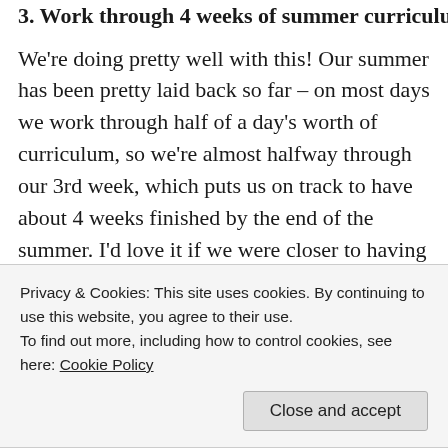3. Work through 4 weeks of summer curriculum...
We're doing pretty well with this! Our summer has been pretty laid back so far – on most days we work through half of a day's worth of curriculum, so we're almost halfway through our 3rd week, which puts us on track to have about 4 weeks finished by the end of the summer. I'd love it if we were closer to having 6 weeks done, but really, we've been enjoying our weeks of summer, and we're all learning and growing, so I'm not going to sweat it 🙂
Privacy & Cookies: This site uses cookies. By continuing to use this website, you agree to their use.
To find out more, including how to control cookies, see here: Cookie Policy
We're working on this – in actually a much bigger